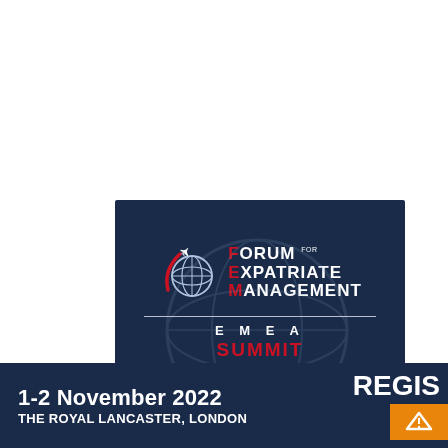[Figure (logo): Forum for Expatriate Management EMEA Summit logo on dark navy background with globe graphic, airplane silhouette, red arc, and event details: 1-2 November 2022, The Royal Lancaster, London]
1-2 November 2022
THE ROYAL LANCASTER, LONDON
REGIS